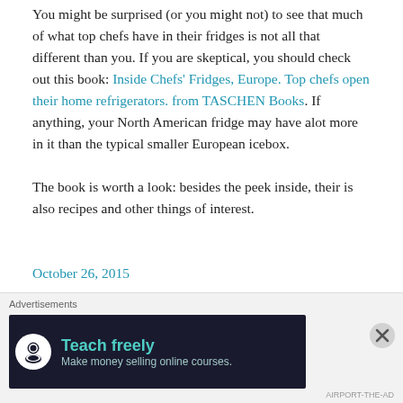You might be surprised (or you might not) to see that much of what top chefs have in their fridges is not all that different than you. If you are skeptical, you should check out this book: Inside Chefs' Fridges, Europe. Top chefs open their home refrigerators. from TASCHEN Books. If anything, your North American fridge may have alot more in it than the typical smaller European icebox.

The book is worth a look: besides the peek inside, their is also recipes and other things of interest.
October 26, 2015
[Figure (other): Advertisements banner: 'Teach freely - Make money selling online courses.' Dark background with teal text and icon.]